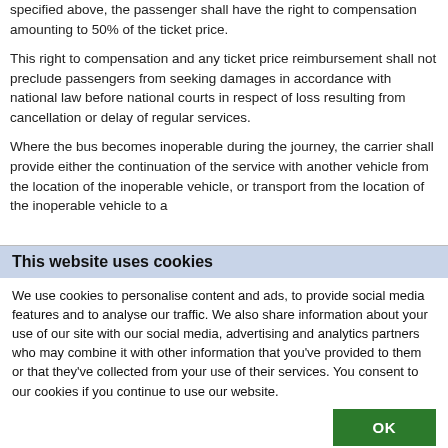specified above, the passenger shall have the right to compensation amounting to 50% of the ticket price.
This right to compensation and any ticket price reimbursement shall not preclude passengers from seeking damages in accordance with national law before national courts in respect of loss resulting from cancellation or delay of regular services.
Where the bus becomes inoperable during the journey, the carrier shall provide either the continuation of the service with another vehicle from the location of the inoperable vehicle, or transport from the location of the inoperable vehicle to a
This website uses cookies
We use cookies to personalise content and ads, to provide social media features and to analyse our traffic. We also share information about your use of our site with our social media, advertising and analytics partners who may combine it with other information that you've provided to them or that they've collected from your use of their services. You consent to our cookies if you continue to use our website.